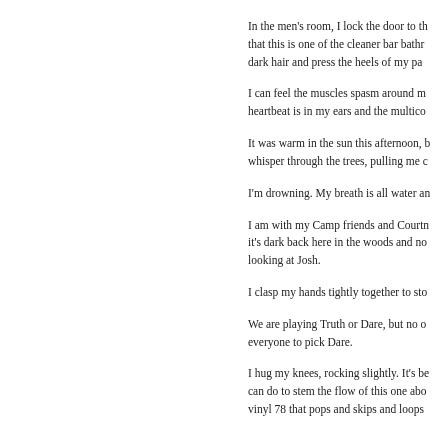In the men's room, I lock the door to th... that this is one of the cleaner bar bathr... dark hair and press the heels of my pa...
I can feel the muscles spasm around m... heartbeat is in my ears and the multico...
It was warm in the sun this afternoon, b... whisper through the trees, pulling me c...
I'm drowning. My breath is all water an...
I am with my Camp friends and Courtn... it's dark back here in the woods and no... looking at Josh.
I clasp my hands tightly together to sto...
We are playing Truth or Dare, but no o... everyone to pick Dare.
I hug my knees, rocking slightly. It's be... can do to stem the flow of this one abo... vinyl 78 that pops and skips and loops...